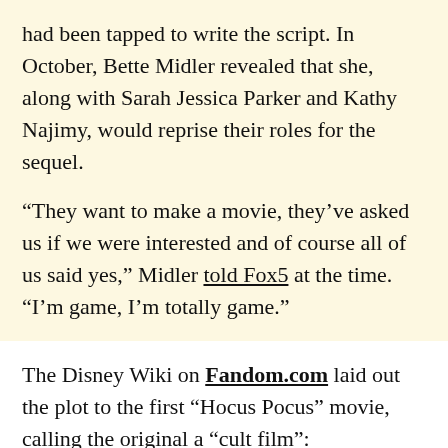had been tapped to write the script. In October, Bette Midler revealed that she, along with Sarah Jessica Parker and Kathy Najimy, would reprise their roles for the sequel.
“They want to make a movie, they’ve asked us if we were interested and of course all of us said yes,” Midler told Fox5 at the time. “I’m game, I’m totally game.”
The Disney Wiki on Fandom.com laid out the plot to the first “Hocus Pocus” movie, calling the original a “cult film”:
It tells the story of a Halloween-hating teenager